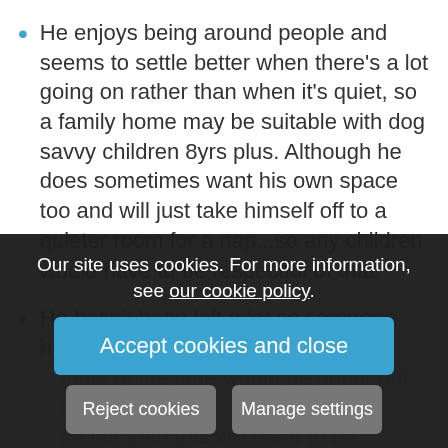He enjoys being around people and seems to settle better when there's a lot going on rather than when it's quiet, so a family home may be suitable with dog savvy children 8yrs plus. Although he does sometimes want his own space too and will just take himself off to a quieter room for a nap...so any children would have to be respectful of that.
He hasn't been left a lot so someone home most of the time would be good, but if he is to be left then this will need to be gradually built up.
His fos[ter, he is extremely placid and all he wants to do is half roll ove[r] nb[...]
Our site uses cookies. For more information, see our cookie policy.
Accept cookies and close
Reject cookies
Manage settings